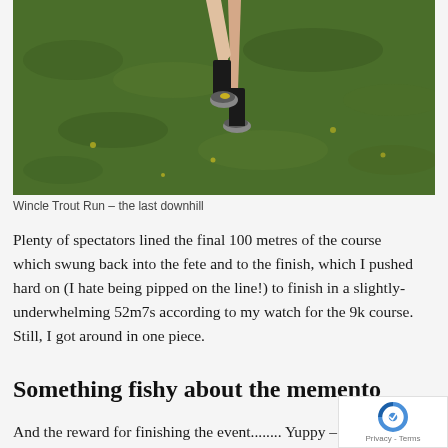[Figure (photo): A runner's legs and feet mid-stride on a green grassy field, wearing black socks and yellow-accented running shoes. Shot from below, showing only the lower legs against the grass.]
Wincle Trout Run – the last downhill
Plenty of spectators lined the final 100 metres of the course which swung back into the fete and to the finish, which I pushed hard on (I hate being pipped on the line!) to finish in a slightly-underwhelming 52m7s according to my watch for the 9k course. Still, I got around in one piece.
Something fishy about the memento
And the reward for finishing the event........ Yu[ppy – as hints the title of the page. It's a...